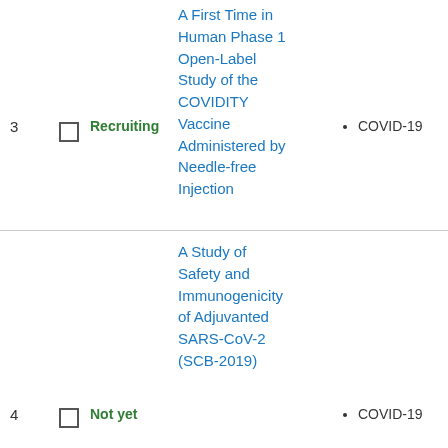| # |  | Status | Study Title | Conditions |
| --- | --- | --- | --- | --- |
| 3 |  | Recruiting | A First Time in Human Phase 1 Open-Label Study of the COVIDITY Vaccine Administered by Needle-free Injection | COVID-19 |
| 4 |  | Not yet | A Study of Safety and Immunogenicity of Adjuvanted SARS-CoV-2 (SCB-2019) | COVID-19 |